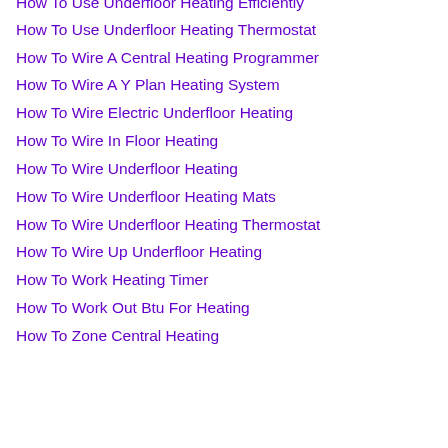How To Use Underfloor Heating Efficiently
How To Use Underfloor Heating Thermostat
How To Wire A Central Heating Programmer
How To Wire A Y Plan Heating System
How To Wire Electric Underfloor Heating
How To Wire In Floor Heating
How To Wire Underfloor Heating
How To Wire Underfloor Heating Mats
How To Wire Underfloor Heating Thermostat
How To Wire Up Underfloor Heating
How To Work Heating Timer
How To Work Out Btu For Heating
How To Zone Central Heating